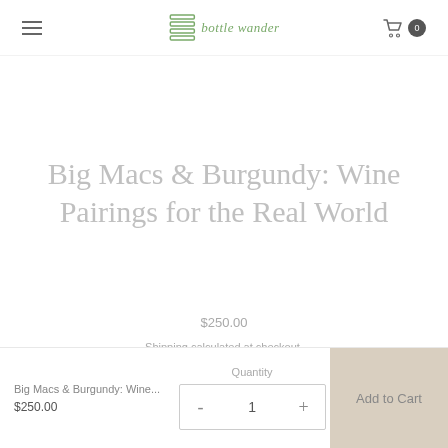bottle wander
Big Macs & Burgundy: Wine Pairings for the Real World
$250.00
Shipping calculated at checkout.
Big Macs & Burgundy: Wine...
$250.00
Quantity
- 1 +
Add to Cart